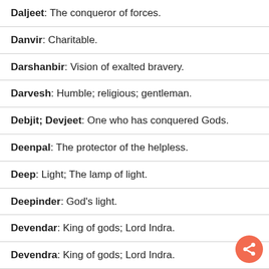Daljeet: The conqueror of forces.
Danvir: Charitable.
Darshanbir: Vision of exalted bravery.
Darvesh: Humble; religious; gentleman.
Debjit; Devjeet: One who has conquered Gods.
Deenpal: The protector of the helpless.
Deep: Light; The lamp of light.
Deepinder: God's light.
Devendar: King of gods; Lord Indra.
Devendra: King of gods; Lord Indra.